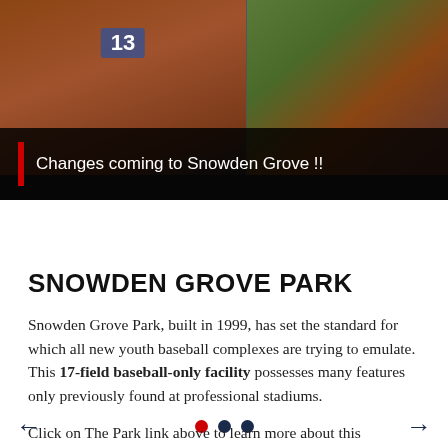[Figure (photo): Slideshow image of Snowden Grove baseball fields, aerial/close-up view of baseball diamonds. Caption bar reads: 'Changes coming to Snowden Grove !!']
Changes coming to Snowden Grove !!
SNOWDEN GROVE PARK
Snowden Grove Park, built in 1999, has set the standard for which all new youth baseball complexes are trying to emulate. This 17-field baseball-only facility possesses many features only previously found at professional stadiums.
Click on The Park link above to learn more about this incredible complex as well as the area we call home -